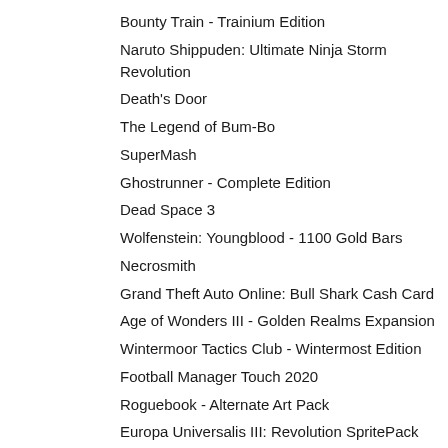Bounty Train - Trainium Edition
Naruto Shippuden: Ultimate Ninja Storm Revolution
Death's Door
The Legend of Bum-Bo
SuperMash
Ghostrunner - Complete Edition
Dead Space 3
Wolfenstein: Youngblood - 1100 Gold Bars
Necrosmith
Grand Theft Auto Online: Bull Shark Cash Card
Age of Wonders III - Golden Realms Expansion
Wintermoor Tactics Club - Wintermost Edition
Football Manager Touch 2020
Roguebook - Alternate Art Pack
Europa Universalis III: Revolution SpritePack
Little Nightmares II - Deluxe Edition
Wolfenstein: Youngblood - 500 Gold Bars